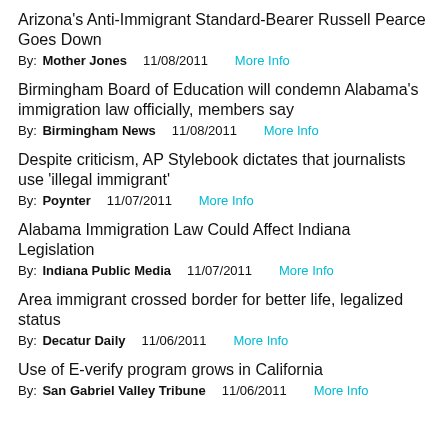Arizona's Anti-Immigrant Standard-Bearer Russell Pearce Goes Down
By: Mother Jones  11/08/2011  More Info
Birmingham Board of Education will condemn Alabama's immigration law officially, members say
By: Birmingham News  11/08/2011  More Info
Despite criticism, AP Stylebook dictates that journalists use 'illegal immigrant'
By: Poynter  11/07/2011  More Info
Alabama Immigration Law Could Affect Indiana Legislation
By: Indiana Public Media  11/07/2011  More Info
Area immigrant crossed border for better life, legalized status
By: Decatur Daily  11/06/2011  More Info
Use of E-verify program grows in California
By: San Gabriel Valley Tribune  11/06/2011  More Info